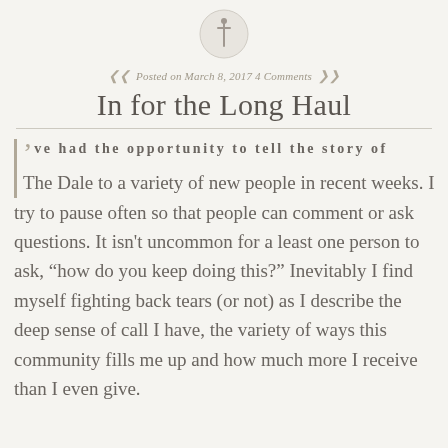[Figure (illustration): Small circular pin/thumbtack icon at top center of page]
Posted on March 8, 2017 4 Comments
In for the Long Haul
'’ve had the opportunity to tell the story of The Dale to a variety of new people in recent weeks. I try to pause often so that people can comment or ask questions. It isn't uncommon for a least one person to ask, “how do you keep doing this?” Inevitably I find myself fighting back tears (or not) as I describe the deep sense of call I have, the variety of ways this community fills me up and how much more I receive than I even give.